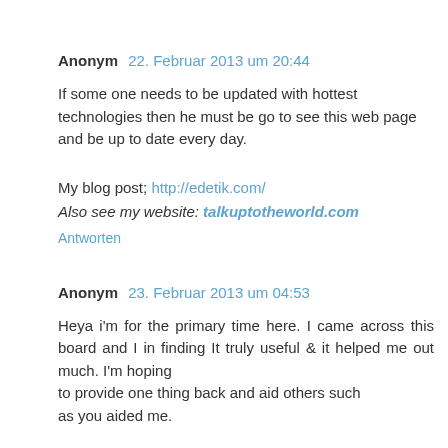Anonym 22. Februar 2013 um 20:44
If some one needs to be updated with hottest technologies then he must be go to see this web page and be up to date every day.
My blog post; http://edetik.com/
Also see my website: talkuptotheworld.com
Antworten
Anonym 23. Februar 2013 um 04:53
Heya i'm for the primary time here. I came across this board and I in finding It truly useful & it helped me out much. I'm hoping to provide one thing back and aid others such as you aided me.